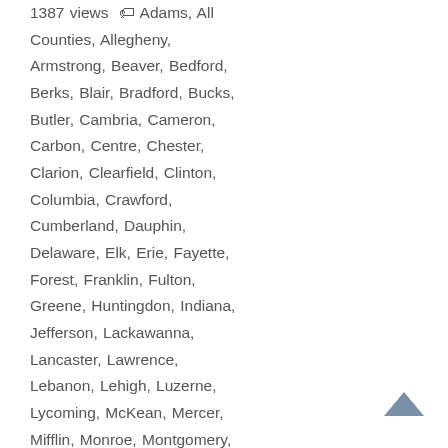1387 views  Adams, All Counties, Allegheny, Armstrong, Beaver, Bedford, Berks, Blair, Bradford, Bucks, Butler, Cambria, Cameron, Carbon, Centre, Chester, Clarion, Clearfield, Clinton, Columbia, Crawford, Cumberland, Dauphin, Delaware, Elk, Erie, Fayette, Forest, Franklin, Fulton, Greene, Huntingdon, Indiana, Jefferson, Lackawanna, Lancaster, Lawrence, Lebanon, Lehigh, Luzerne, Lycoming, McKean, Mercer, Mifflin, Monroe, Montgomery, Montour, Northampton,
[Figure (other): Upward chevron / back-to-top arrow button in steel blue color, bottom right corner]